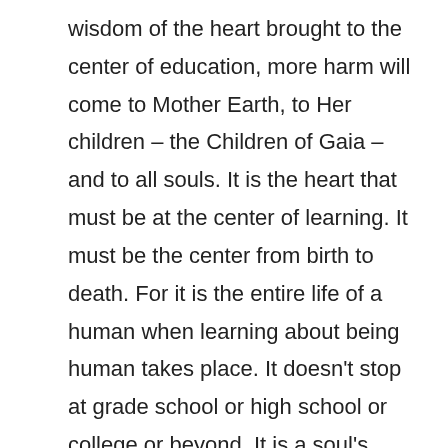wisdom of the heart brought to the center of education, more harm will come to Mother Earth, to Her children – the Children of Gaia – and to all souls. It is the heart that must be at the center of learning. It must be the center from birth to death. For it is the entire life of a human when learning about being human takes place. It doesn't stop at grade school or high school or college or beyond. It is a soul's entire life on Earth that is the learning field. This must be spoken in the halls of these buildings where child-souls' minds are being forced into small thinking. Where thinking in a limited way takes precedence over the heart. This will continue the cycle. It is those brave souls who speak for the